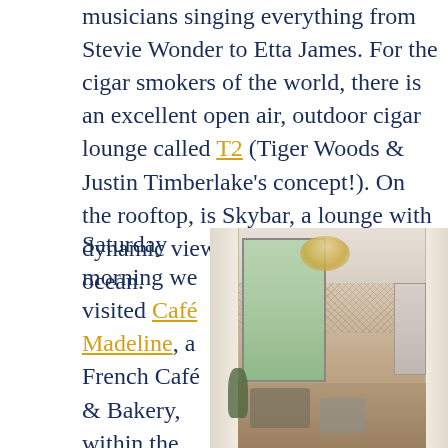musicians singing everything from Stevie Wonder to Etta James. For the cigar smokers of the world, there is an excellent open air, outdoor cigar lounge called T2 (Tiger Woods & Justin Timberlake's concept!). On the rooftop, is Skybar, a lounge with dynamic views of the crystal blue ocean.
Saturday morning we visited Café Madeline, a French Café & Bakery, within the Grand Hyatt. We
[Figure (photo): Interior of Café Madeline at the Grand Hyatt — an elegant dining room with tall windows, sheer white curtains, an ornate woven ceiling fixture, tables and chairs visible, warm ambient lighting.]